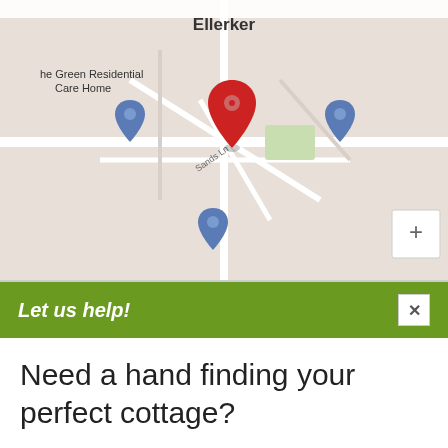[Figure (map): Google Maps screenshot showing Ellerker village with map pins including a red location marker, The Green Residential Care Home marker, Ellerker gas and plumbing marker, and a zoom-in button.]
Let us help!
Need a hand finding your perfect cottage?
Simply fill out this form and we'll do the hard work for you.
The village of South Cave is situated in the East Riding of Yorkshire within driving distance to the city of York. The village offers an array of shops, pubs, restaurants, tea rooms, a Post Office and a bank, as well as a monthly farmers' market held in the market square. The surrounding area offers traditional market towns, including Beverley and